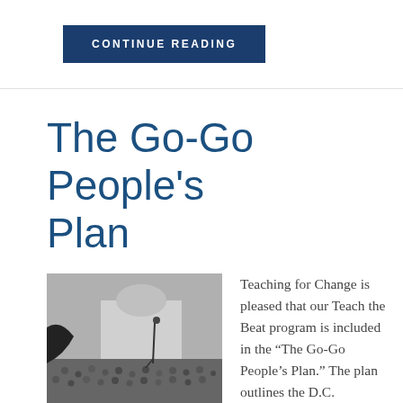CONTINUE READING
The Go-Go People's Plan
[Figure (photo): Black and white photograph of a large outdoor crowd event with a performer on stage, microphone stand visible, large neoclassical building in background. Bottom shows red text 'THE GO-GO' book cover.]
Teaching for Change is pleased that our Teach the Beat program is included in the “The Go-Go People’s Plan.” The plan outlines the D.C.